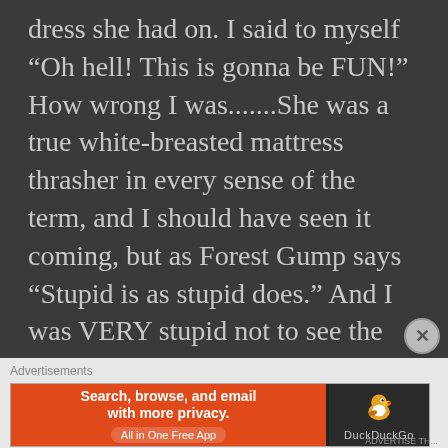dress she had on. I said to myself “Oh hell! This is gonna be FUN!” How wrong I was.......She was a true white-breasted mattress thrasher in every sense of the term, and I should have seen it coming, but as Forest Gump says “Stupid is as stupid does.” And I was VERY stupid not to see the red flags waving in my face. Her name was Missy (redacted).....and forever more I shall refer to her as “Messy Missy,” because boy did she make a mess of my life.......Turned it
[Figure (other): DuckDuckGo advertisement banner: orange left panel with text 'Search, browse, and email with more privacy. All in One Free App', dark right panel with DuckDuckGo duck logo and brand name.]